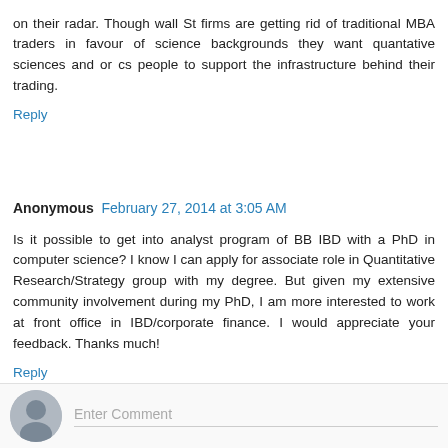on their radar. Though wall St firms are getting rid of traditional MBA traders in favour of science backgrounds they want quantative sciences and or cs people to support the infrastructure behind their trading.
Reply
Anonymous  February 27, 2014 at 3:05 AM
Is it possible to get into analyst program of BB IBD with a PhD in computer science? I know I can apply for associate role in Quantitative Research/Strategy group with my degree. But given my extensive community involvement during my PhD, I am more interested to work at front office in IBD/corporate finance. I would appreciate your feedback. Thanks much!
Reply
Enter Comment